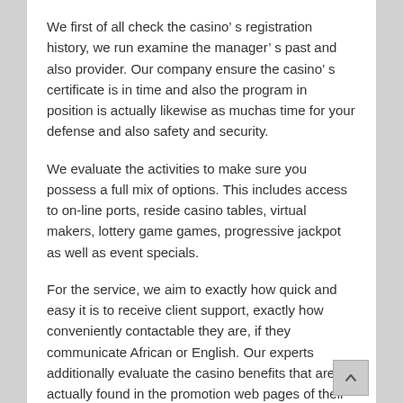We first of all check the casino’ s registration history, we run examine the manager’ s past and also provider. Our company ensure the casino’ s certificate is in time and also the program in position is actually likewise as muchas time for your defense and also safety and security.
We evaluate the activities to make sure you possess a full mix of options. This includes access to on-line ports, reside casino tables, virtual makers, lottery game games, progressive jackpot as well as event specials.
For the service, we aim to exactly how quick and easy it is to receive client support, exactly how conveniently contactable they are, if they communicate African or English. Our experts additionally evaluate the casino benefits that are actually found in the promotion web pages of their website. Our company are sure you acquire premium and also honest packages that really carry out allow you to win real amount of money completely free!